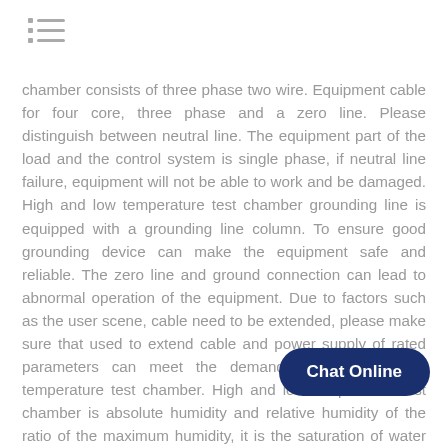[Figure (other): Hamburger menu icon with three lines and dot indicators]
chamber consists of three phase two wire. Equipment cable for four core, three phase and a zero line. Please distinguish between neutral line. The equipment part of the load and the control system is single phase, if neutral line failure, equipment will not be able to work and be damaged. High and low temperature test chamber grounding line is equipped with a grounding line column. To ensure good grounding device can make the equipment safe and reliable. The zero line and ground connection can lead to abnormal operation of the equipment. Due to factors such as the user scene, cable need to be extended, please make sure that used to extend cable and power supply of rated parameters can meet the demand of high and low temperature test chamber. High and low temperature test chamber is absolute humidity and relative humidity of the ratio of the maximum humidity, it is the saturation of water vapor. It is the unit of %. The air is